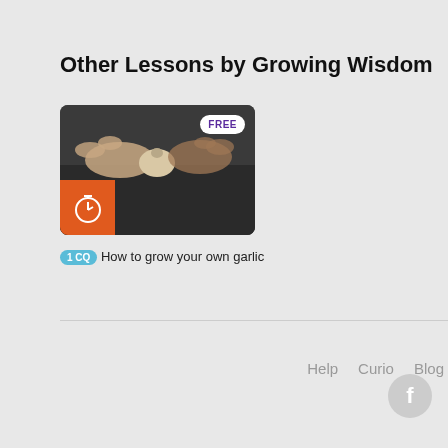Other Lessons by Growing Wisdom
[Figure (screenshot): Thumbnail of a video lesson showing hands holding garlic, with an orange stopwatch icon in the bottom-left and a FREE badge in the top-right]
1 CQ  How to grow your own garlic
Help   Curio   Blog